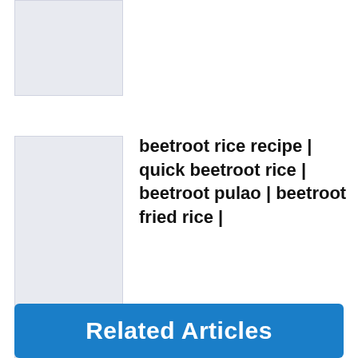[Figure (other): Top image placeholder box with light blue-gray background]
[Figure (other): Tall image placeholder box with light blue-gray background]
beetroot rice recipe | quick beetroot rice | beetroot pulao | beetroot fried rice |
Related Articles